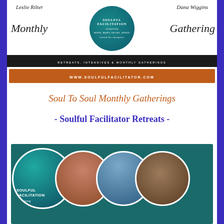[Figure (illustration): Soulful Facilitation Monthly Gathering banner with script text 'Leslie Rilter' and 'Dana Wiggins', script text 'Monthly Gathering', teal circle logo with 'SOULFUL FACILITATION' text, black bar reading 'RETREATS, INTENSIVES & MONTHLY GATHERINGS', and orange bar with 'WWW.SOULFULFACILITATOR.COM']
Soul To Soul Monthly Gatherings
- Soulful Facilitator Retreats -
[Figure (illustration): Overlapping circular images showing a teal cosmic/constellation design labeled 'SOULFUL FACILITATION', a human torso/body image, birds in flight, and a pottery/hands image]